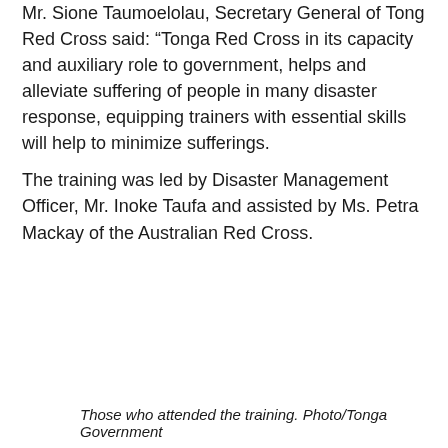Mr. Sione Taumoelolau, Secretary General of Tong Red Cross said: “Tonga Red Cross in its capacity and auxiliary role to government, helps and alleviate suffering of people in many disaster response, equipping trainers with essential skills will help to minimize sufferings.
The training was led by Disaster Management Officer, Mr. Inoke Taufa and assisted by Ms. Petra Mackay of the Australian Red Cross.
Those who attended the training. Photo/Tonga Government